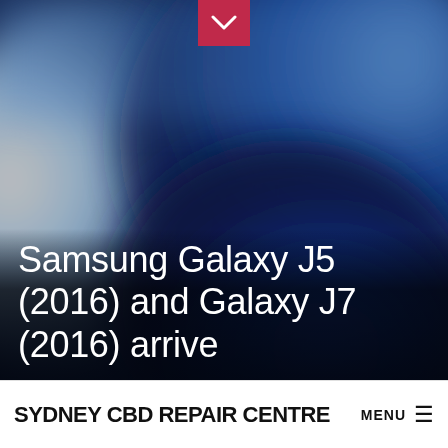[Figure (screenshot): Blurred background image with blues and whites/beige tones, showing a smartphone or app background. A pink/red chevron down button appears at the top center.]
Samsung Galaxy J5 (2016) and Galaxy J7 (2016) arrive
SYDNEY CBD REPAIR CENTRE  MENU ≡